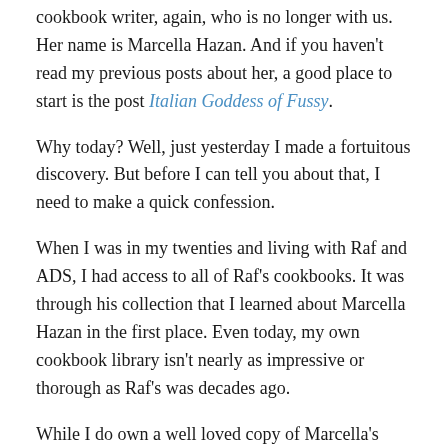cookbook writer, again, who is no longer with us. Her name is Marcella Hazan. And if you haven't read my previous posts about her, a good place to start is the post Italian Goddess of Fussy.
Why today? Well, just yesterday I made a fortuitous discovery. But before I can tell you about that, I need to make a quick confession.
When I was in my twenties and living with Raf and ADS, I had access to all of Raf's cookbooks. It was through his collection that I learned about Marcella Hazan in the first place. Even today, my own cookbook library isn't nearly as impressive or thorough as Raf's was decades ago.
While I do own a well loved copy of Marcella's Essentials of Classic Italian Cooking, it has been the only one of her books on my shelf. That is my confession.